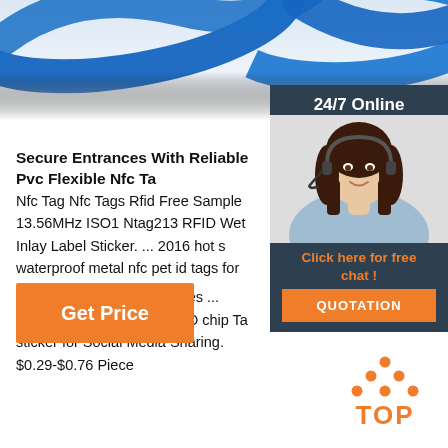[Figure (photo): Blue PVC flexible NFC wristband/tag close-up photo at top of page]
Secure Entrances With Reliable Pvc Flexible Nfc Ta
Nfc Tag Nfc Tags Rfid Free Sample 13.56MHz ISO1 Ntag213 RFID Wet Inlay Label Sticker. ... 2016 hot s waterproof metal nfc pet id tags for dogs pets. $0.80 100.0 Pieces ... ISO14443A 13.56MHz RFID chip Ta sticker for Social Media Sharing. $0.29-$0.76 Piece
[Figure (photo): 24/7 Online customer service panel with woman wearing headset, orange QUOTATION button and 'Click here for free chat!' text]
Get Price
[Figure (logo): TOP logo with orange dots forming a house/arrow shape above orange TOP text]